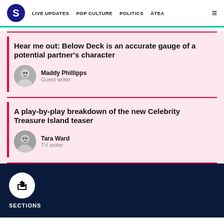S | LIVE UPDATES | POP CULTURE | POLITICS | ĀTEA
Hear me out: Below Deck is an accurate gauge of a potential partner's character
Maddy Phillipps
Guest writer
A play-by-play breakdown of the new Celebrity Treasure Island teaser
Tara Ward
TV writer
SECTIONS